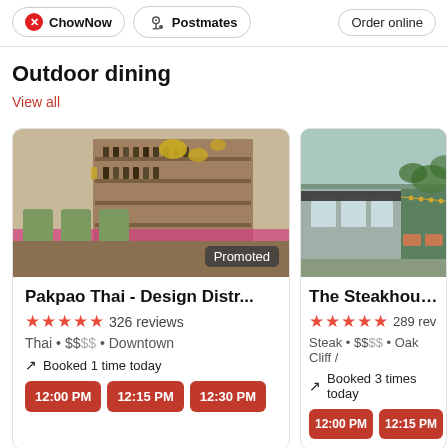[Figure (screenshot): Top bar with ChowNow and Postmates ordering buttons, and an Order online button on the right]
Outdoor dining
View all
[Figure (photo): Interior photo of Pakpao Thai restaurant in Design District showing green chairs, bar shelves with bottles, and warm lighting. Promoted badge visible.]
Pakpao Thai - Design Distr...
326 reviews
Thai • $$$$ • Downtown
Booked 1 time today
12:00 PM   12:15 PM   12:30 PM
[Figure (photo): Exterior photo of The Steakhouse at C showing outdoor seating area with greenery and patio lights.]
The Steakhouse at C
289 rev
Steak • $$$$ • Oak Cliff /
Booked 3 times today
12:00 PM   12:15 PM